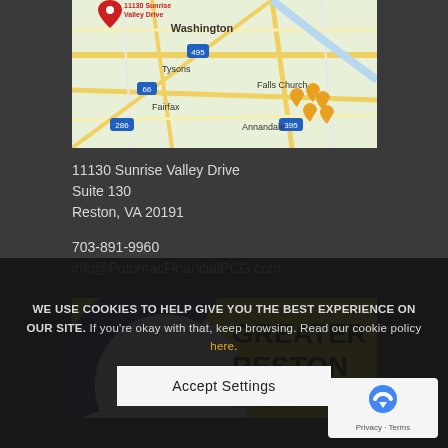[Figure (map): Google Maps screenshot showing location pin at 11130 Sunrise Valley Drive, with surrounding area including Tysons, Washington, Falls Church, Fairfax, Annandale visible]
11130 Sunrise Valley Drive
Suite 130
Reston, VA 20191

703-891-9960
info@PotomacFinancialPCG.com
[Figure (logo): Greater Reston Chamber of Commerce logo with yellow background, purple arc, and black text]
WE USE COOKIES TO HELP GIVE YOU THE BEST EXPERIENCE ON OUR SITE. If you're okay with that, keep browsing. Read our cookie policy here.
Accept Settings